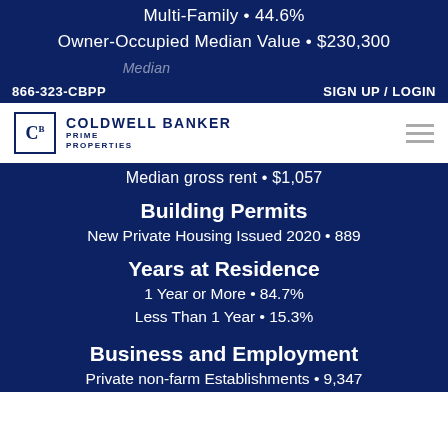Multi-Family • 44.6%
Owner-Occupied Median Value • $230,300
Median [partially obscured text]
866-323-CBPP    SIGN UP / LOGIN
[Figure (logo): Coldwell Banker Prime Properties logo]
Median gross rent • $1,057
Building Permits
New Private Housing Issued 2020 • 889
Years at Residence
1 Year or More • 84.7%
Less Than 1 Year • 15.3%
Business and Employment
Private non-farm Establishments • 9,347